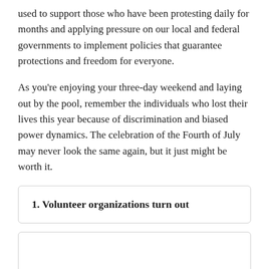used to support those who have been protesting daily for months and applying pressure on our local and federal governments to implement policies that guarantee protections and freedom for everyone.
As you're enjoying your three-day weekend and laying out by the pool, remember the individuals who lost their lives this year because of discrimination and biased power dynamics. The celebration of the Fourth of July may never look the same again, but it just might be worth it.
1. Volunteer organizations turn out